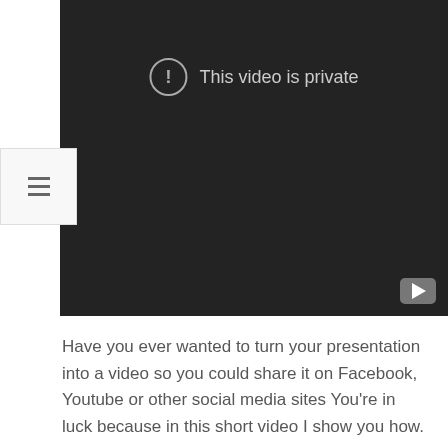[Figure (screenshot): A YouTube video player showing a dark background with a 'This video is private' message in the center. A circle with an exclamation mark icon is shown to the left of the text. A YouTube play button logo appears in the bottom-right corner of the player.]
Have you ever wanted to turn your presentation into a video so you could share it on Facebook, Youtube or other social media sites You’re in luck because in this short video I show you how.
*Brought to you by
-~-~~-~~~-~~-~-
Please watch: “We’re About To Accidentally Crash a